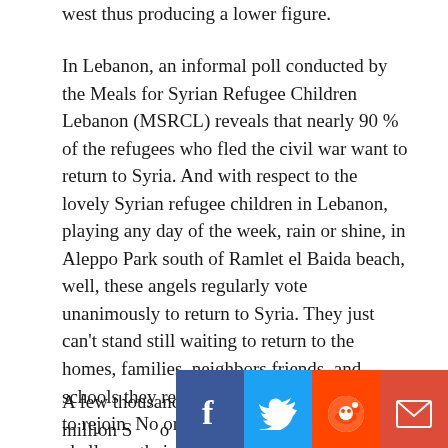west thus producing a lower figure.
In Lebanon, an informal poll conducted by the Meals for Syrian Refugee Children Lebanon (MSRCL) reveals that nearly 90 % of the refugees who fled the civil war want to return to Syria. And with respect to the lovely Syrian refugee children in Lebanon, playing any day of the week, rain or shine, in Aleppo Park south of Ramlet el Baida beach, well, these angels regularly vote unanimously to return to Syria. They just can't stand still waiting to return to the homes, families, neighbors friends, and schools they remember and desperately want to rejoin. No one at MSRCL is inclined to challenge their dreams by presenting these innocents with gruesome details of what has become of their country. But as all parents know, kids know a lot and are ready to face seemingly insurmountable challenges.
A few thousands of the one million S[...]o could indeed return in 2018 despite the continuing